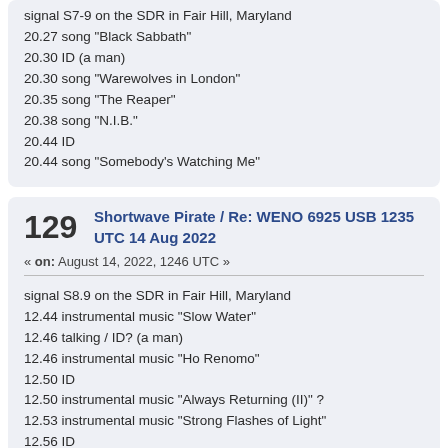signal S7-9 on the SDR in Fair Hill, Maryland
20.27 song "Black Sabbath"
20.30 ID (a man)
20.30 song "Warewolves in London"
20.35 song "The Reaper"
20.38 song "N.I.B."
20.44 ID
20.44 song "Somebody's Watching Me"
129  Shortwave Pirate / Re: WENO 6925 USB 1235 UTC 14 Aug 2022
« on: August 14, 2022, 1246 UTC »
signal S8.9 on the SDR in Fair Hill, Maryland
12.44 instrumental music "Slow Water"
12.46 talking / ID? (a man)
12.46 instrumental music "Ho Renomo"
12.50 ID
12.50 instrumental music "Always Returning (II)" ?
12.53 instrumental music "Strong Flashes of Light"
12.56 ID
12.56 instrumental music "Theme From "Creation"
12.59 instrumental music
13.00 talking + ID
Thank you for the show. If possible, please QSL. Thank you